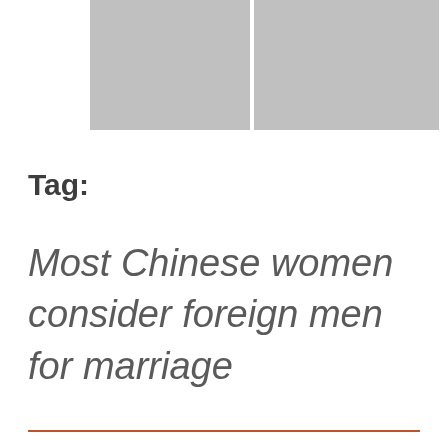[Figure (photo): Two gray placeholder image boxes side by side at the top of the page]
Tag:
Most Chinese women consider foreign men for marriage